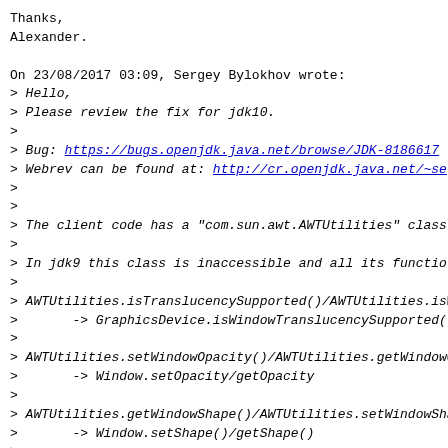Thanks,
Alexander.

On 23/08/2017 03:09, Sergey Bylokhov wrote:
> Hello,
> Please review the fix for jdk10.
>
> Bug: https://bugs.openjdk.java.net/browse/JDK-8186617
> Webrev can be found at: http://cr.openjdk.java.net/~se
>
>
> The client code has a "com.sun.awt.AWTUtilities" class
>
> In jdk9 this class is inaccessible and all its functio
>
> AWTUtilities.isTranslucencySupported()/AWTUtilities.is
>       -> GraphicsDevice.isWindowTranslucencySupported()
>
> AWTUtilities.setWindowOpacity()/AWTUtilities.getWindowO
>       -> Window.setOpacity/getOpacity
>
> AWTUtilities.getWindowShape()/AWTUtilities.setWindowSha
>       -> Window.setShape()/getShape()
>
> AWTUtilities.setWindowOpaque/AWTUtilities.isWindowOpaqu
>       -> setBackground()/isOpaque()
>
> AWTUtilities.isTranslucencyCapable
>       -> GraphicsConfiguration.isTranslucencyCapable()
>